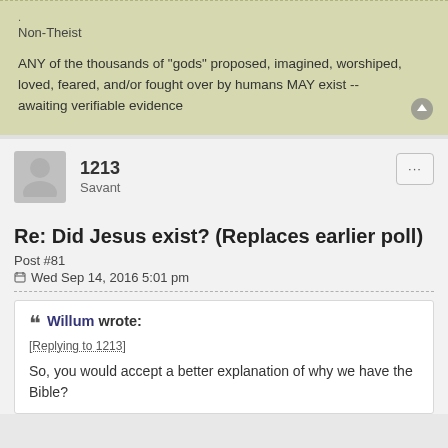.
Non-Theist
ANY of the thousands of "gods" proposed, imagined, worshiped, loved, feared, and/or fought over by humans MAY exist -- awaiting verifiable evidence
1213
Savant
Re: Did Jesus exist? (Replaces earlier poll)
Post #81
Wed Sep 14, 2016 5:01 pm
Willum wrote:
[Replying to 1213]

So, you would accept a better explanation of why we have the Bible?